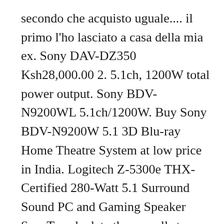secondo che acquisto uguale.... il primo l'ho lasciato a casa della mia ex. Sony DAV-DZ350 Ksh28,000.00 2. 5.1ch, 1200W total power output. Sony BDV-N9200WL 5.1ch/1200W. Buy Sony BDV-N9200W 5.1 3D Blu-ray Home Theatre System at low price in India. Logitech Z-5300e THX-Certified 280-Watt 5.1 Surround Sound PC and Gaming Speaker Sy... To calculate the overall star rating and percentage breakdown by star, we don't use a simple average. In Stock Nov 2020 Bihi Towers, Ground Floor, Suite G8, Moi Avenue, Nairobi CBD. High-Resolution Audio compatible. Le uniche due pecche sono la mancanza di un sub woofer wi-fi ( il collegamento filare ne limita la